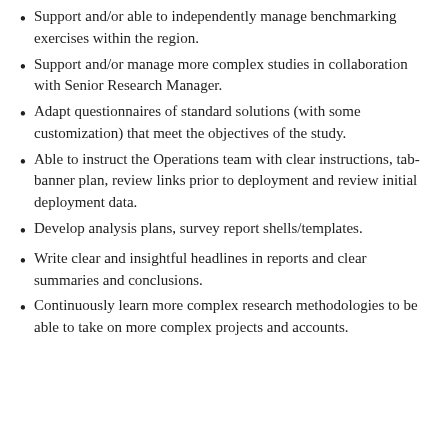Support and/or able to independently manage benchmarking exercises within the region.
Support and/or manage more complex studies in collaboration with Senior Research Manager.
Adapt questionnaires of standard solutions (with some customization) that meet the objectives of the study.
Able to instruct the Operations team with clear instructions, tab-banner plan, review links prior to deployment and review initial deployment data.
Develop analysis plans, survey report shells/templates.
Write clear and insightful headlines in reports and clear summaries and conclusions.
Continuously learn more complex research methodologies to be able to take on more complex projects and accounts.